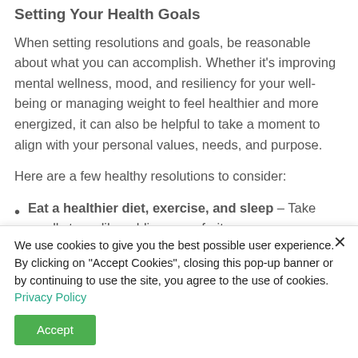Setting Your Health Goals
When setting resolutions and goals, be reasonable about what you can accomplish. Whether it's improving mental wellness, mood, and resiliency for your well-being or managing weight to feel healthier and more energized, it can also be helpful to take a moment to align with your personal values, needs, and purpose.
Here are a few healthy resolutions to consider:
Eat a healthier diet, exercise, and sleep – Take small steps, like adding more fruits or
We use cookies to give you the best possible user experience. By clicking on "Accept Cookies", closing this pop-up banner or by continuing to use the site, you agree to the use of cookies. Privacy Policy
Accept